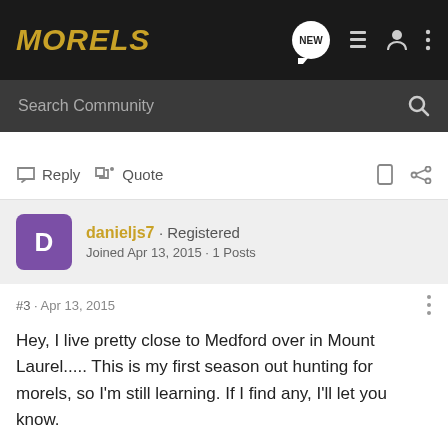MORELS
Search Community
Reply  Quote
danieljs7 · Registered
Joined Apr 13, 2015 · 1 Posts
#3 · Apr 13, 2015
Hey, I live pretty close to Medford over in Mount Laurel..... This is my first season out hunting for morels, so I'm still learning. If I find any, I'll let you know.